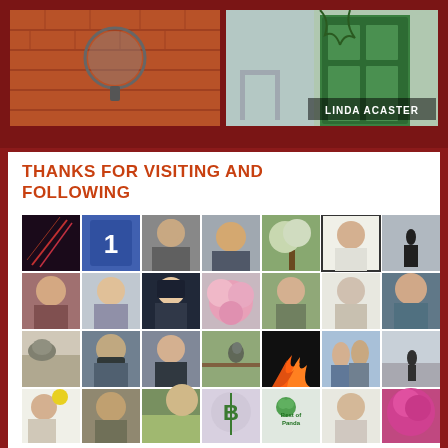[Figure (photo): Two book cover or scene images side by side on dark red background. Left: brick wall with circular mirror. Right: chairs/furniture scene with text 'LINDA ACASTER' over a green door.]
THANKS FOR VISITING AND FOLLOWING
[Figure (photo): Grid of approximately 35 follower avatar thumbnails arranged in 5 rows of 7 columns, showing various profile photos of people, illustrations, logos, and nature images.]